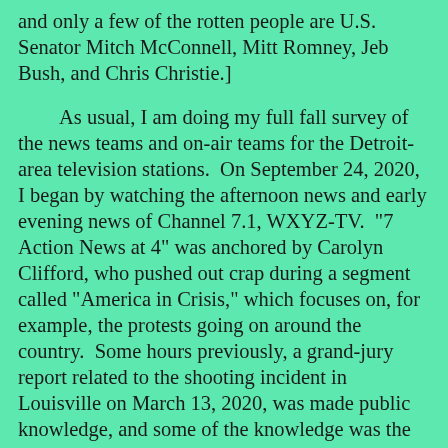and only a few of the rotten people are U.S. Senator Mitch McConnell, Mitt Romney, Jeb Bush, and Chris Christie.]
As usual, I am doing my full fall survey of the news teams and on-air teams for the Detroit-area television stations.  On September 24, 2020, I began by watching the afternoon news and early evening news of Channel 7.1, WXYZ-TV.  "7 Action News at 4" was anchored by Carolyn Clifford, who pushed out crap during a segment called "America in Crisis," which focuses on, for example, the protests going on around the country.  Some hours previously, a grand-jury report related to the shooting incident in Louisville on March 13, 2020, was made public knowledge, and some of the knowledge was the police announced themselves and then a police officer was shot in the leg by Breonna Taylor's so-called boyfrend, and soon Breonna Taylor was killed in return fire by police.  Carolyn Clifford pushed out the lie that a